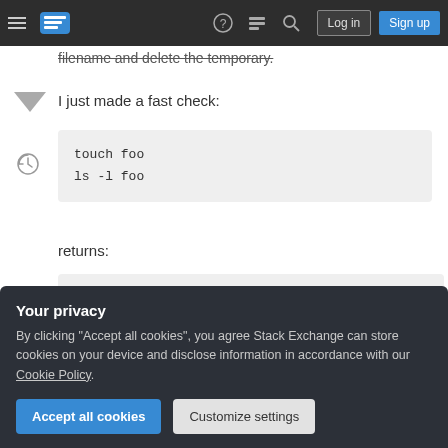Stack Exchange navigation bar with Log in and Sign up buttons
filename and delete the temporary.
I just made a fast check:
touch foo
ls -l foo
returns:
0 -rw-r--r-- 1 shunz shunz 0 2011-03-22 11:
Your privacy
By clicking "Accept all cookies", you agree Stack Exchange can store cookies on your device and disclose information in accordance with our Cookie Policy.
Accept all cookies
Customize settings